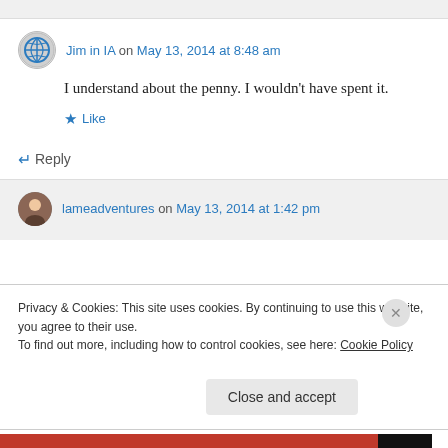Jim in IA on May 13, 2014 at 8:48 am
I understand about the penny. I wouldn't have spent it.
★ Like
↵ Reply
lameadventures on May 13, 2014 at 1:42 pm
Privacy & Cookies: This site uses cookies. By continuing to use this website, you agree to their use.
To find out more, including how to control cookies, see here: Cookie Policy
Close and accept